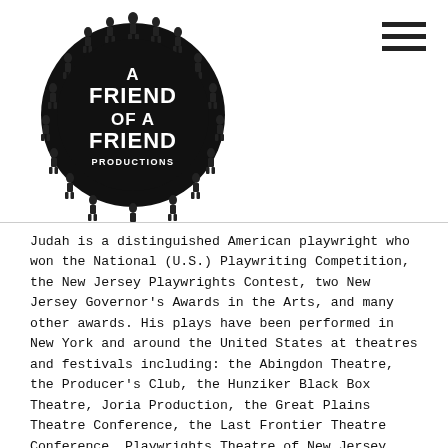[Figure (logo): A Friend of a Friend Productions logo — black circular cluster of silhouetted human figures surrounding bold white text reading 'A FRIEND OF A FRIEND PRODUCTIONS']
Judah is a distinguished American playwright who won the National (U.S.) Playwriting Competition, the New Jersey Playwrights Contest, two New Jersey Governor's Awards in the Arts, and many other awards. His plays have been performed in New York and around the United States at theatres and festivals including: the Abingdon Theatre, the Producer's Club, the Hunziker Black Box Theatre, Joria Production, the Great Plains Theatre Conference, the Last Frontier Theatre Conference, Playwrights Theatre of New Jersey, the State Theatre of New Jersey and elsewhere. The Jewish Week, the largest circulated Jewish-oriented